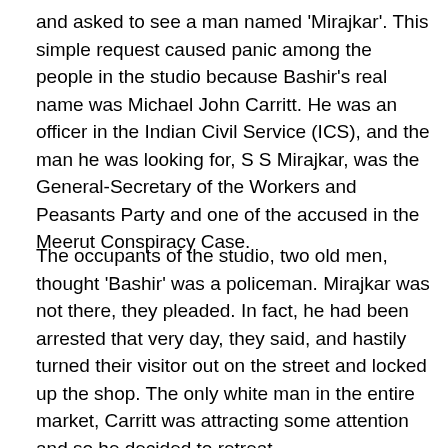and asked to see a man named 'Mirajkar'. This simple request caused panic among the people in the studio because Bashir's real name was Michael John Carritt. He was an officer in the Indian Civil Service (ICS), and the man he was looking for, S S Mirajkar, was the General-Secretary of the Workers and Peasants Party and one of the accused in the Meerut Conspiracy Case.
The occupants of the studio, two old men, thought 'Bashir' was a policeman. Mirajkar was not there, they pleaded. In fact, he had been arrested that very day, they said, and hastily turned their visitor out on the street and locked up the shop. The only white man in the entire market, Carritt was attracting some attention and so he decided to retreat.